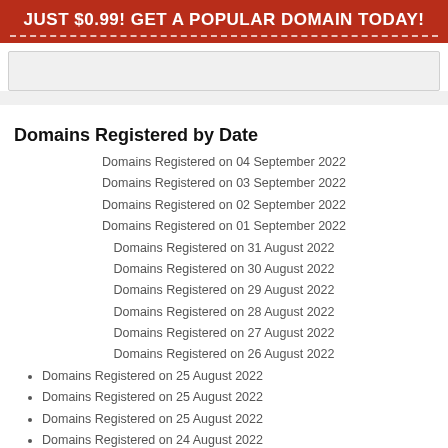JUST $0.99! GET A POPULAR DOMAIN TODAY!
[Figure (other): Search bar / input box area]
Domains Registered by Date
Domains Registered on 04 September 2022
Domains Registered on 03 September 2022
Domains Registered on 02 September 2022
Domains Registered on 01 September 2022
Domains Registered on 31 August 2022
Domains Registered on 30 August 2022
Domains Registered on 29 August 2022
Domains Registered on 28 August 2022
Domains Registered on 27 August 2022
Domains Registered on 26 August 2022
Domains Registered on 25 August 2022
Domains Registered on 25 August 2022
Domains Registered on 25 August 2022
Domains Registered on 24 August 2022
Domains Registered on 24 August 2022
Domains Registered on 24 August 2022
Domains Registered on 24 August 2022